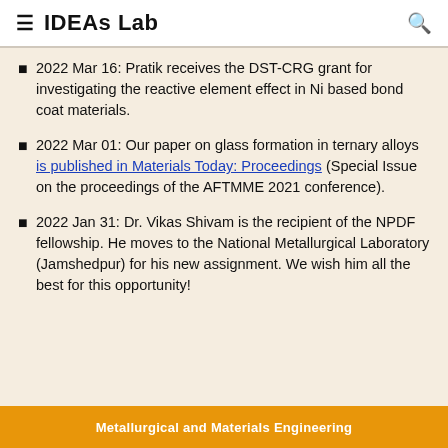IDEAs Lab
2022 Mar 16: Pratik receives the DST-CRG grant for investigating the reactive element effect in Ni based bond coat materials.
2022 Mar 01: Our paper on glass formation in ternary alloys is published in Materials Today: Proceedings (Special Issue on the proceedings of the AFTMME 2021 conference).
2022 Jan 31: Dr. Vikas Shivam is the recipient of the NPDF fellowship. He moves to the National Metallurgical Laboratory (Jamshedpur) for his new assignment. We wish him all the best for this opportunity!
Metallurgical and Materials Engineering